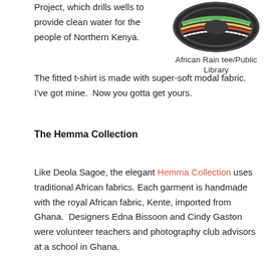Project, which drills wells to provide clean water for the people of Northern Kenya.
[Figure (photo): Colorful beaded African decorative item or hat, top-down view, with green, yellow, red, and white beadwork on dark fabric/material.]
African Rain tee/Public Library
The fitted t-shirt is made with super-soft modal fabric.  I've got mine.  Now you gotta get yours.
The Hemma Collection
Like Deola Sagoe, the elegant Hemma Collection uses traditional African fabrics. Each garment is handmade with the royal African fabric, Kente, imported from Ghana.  Designers Edna Bissoon and Cindy Gaston were volunteer teachers and photography club advisors at a school in Ghana.